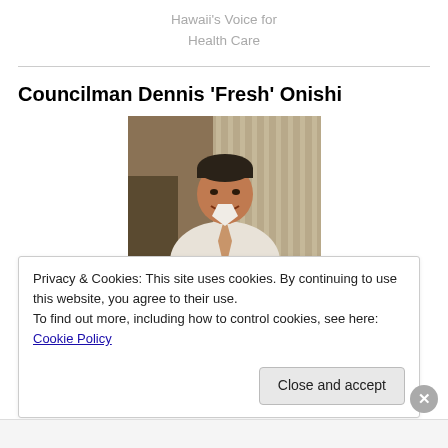Hawaii's Voice for Health Care
Councilman Dennis 'Fresh' Onishi
[Figure (photo): Photo of Councilman Dennis 'Fresh' Onishi, a man in a white shirt and tie seated at a desk with vertical blinds in the background]
Supporter of Youth Sports
Privacy & Cookies: This site uses cookies. By continuing to use this website, you agree to their use.
To find out more, including how to control cookies, see here: Cookie Policy